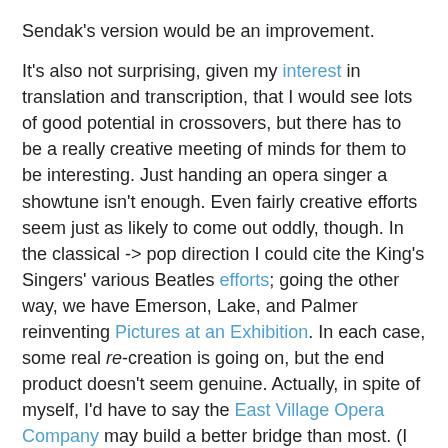Sendak's version would be an improvement.
It's also not surprising, given my interest in translation and transcription, that I would see lots of good potential in crossovers, but there has to be a really creative meeting of minds for them to be interesting. Just handing an opera singer a showtune isn't enough. Even fairly creative efforts seem just as likely to come out oddly, though. In the classical -> pop direction I could cite the King's Singers' various Beatles efforts; going the other way, we have Emerson, Lake, and Palmer reinventing Pictures at an Exhibition. In each case, some real re-creation is going on, but the end product doesn't seem genuine. Actually, in spite of myself, I'd have to say the East Village Opera Company may build a better bridge than most. (I believe one person did mention them on the Soho quiz.) I haven't heard all of their work, but a student once sent me a link to this Nessun dorma cover as a joke. You know what? It's pretty darn good for what it is - Puccini's aria (which I've always thought was a little overrated, even though I love Puccini) makes an excellent rock anthem. If only Jonathan Larsen had been able to write like this.